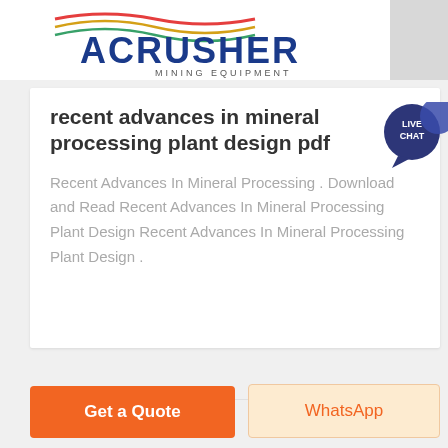[Figure (logo): ACRUSHER Mining Equipment logo banner with colorful wave lines above text]
recent advances in mineral processing plant design pdf
Recent Advances In Mineral Processing . Download and Read Recent Advances In Mineral Processing Plant Design Recent Advances In Mineral Processing Plant Design .
Get Price
Get a Quote
WhatsApp